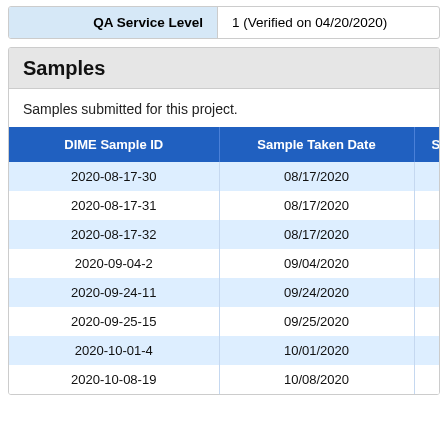| QA Service Level | 1 (Verified on 04/20/2020) |
| --- | --- |
Samples
Samples submitted for this project.
| DIME Sample ID | Sample Taken Date | S |
| --- | --- | --- |
| 2020-08-17-30 | 08/17/2020 |  |
| 2020-08-17-31 | 08/17/2020 |  |
| 2020-08-17-32 | 08/17/2020 |  |
| 2020-09-04-2 | 09/04/2020 |  |
| 2020-09-24-11 | 09/24/2020 |  |
| 2020-09-25-15 | 09/25/2020 |  |
| 2020-10-01-4 | 10/01/2020 |  |
| 2020-10-08-19 | 10/08/2020 |  |